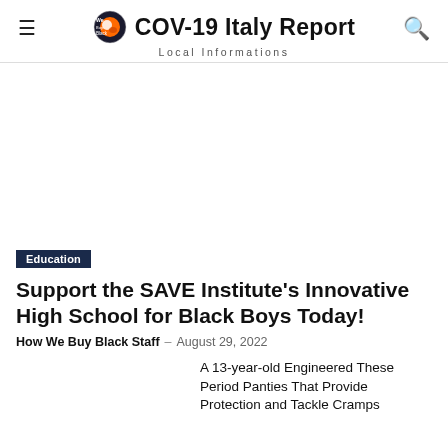COV-19 Italy Report · Local Informations
[Figure (other): Advertisement blank area]
Education
Support the SAVE Institute's Innovative High School for Black Boys Today!
How We Buy Black Staff – August 29, 2022
A 13-year-old Engineered These Period Panties That Provide Protection and Tackle Cramps